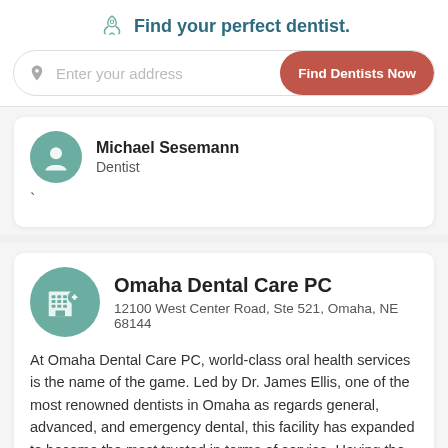Find your perfect dentist.
Enter your address
Find Dentists Now
Michael Sesemann
Dentist
Omaha Dental Care PC
12100 West Center Road, Ste 521, Omaha, NE 68144
At Omaha Dental Care PC, world-class oral health services is the name of the game. Led by Dr. James Ellis, one of the most renowned dentists in Omaha as regards general, advanced, and emergency dental, this facility has expanded to become the most trusted in terms of service. Having the best staff and dentist in Omaha, it offers